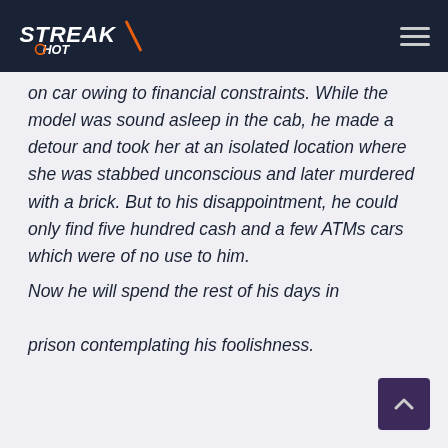StreakHot
on car owing to financial constraints. While the model was sound asleep in the cab, he made a detour and took her at an isolated location where she was stabbed unconscious and later murdered with a brick. But to his disappointment, he could only find five hundred cash and a few ATMs cars which were of no use to him.

Now he will spend the rest of his days in prison contemplating his foolishness.